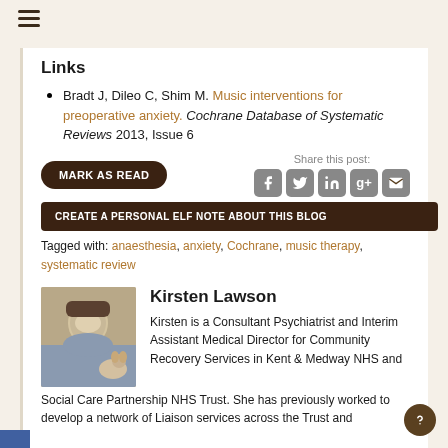Links
Bradt J, Dileo C, Shim M. Music interventions for preoperative anxiety. Cochrane Database of Systematic Reviews 2013, Issue 6
MARK AS READ
Share this post:
CREATE A PERSONAL ELF NOTE ABOUT THIS BLOG
Tagged with: anaesthesia, anxiety, Cochrane, music therapy, systematic review
Kirsten Lawson
[Figure (photo): Photo of Kirsten Lawson with a dog]
Kirsten is a Consultant Psychiatrist and Interim Assistant Medical Director for Community Recovery Services in Kent & Medway NHS and Social Care Partnership NHS Trust. She has previously worked to develop a network of Liaison services across the Trust and